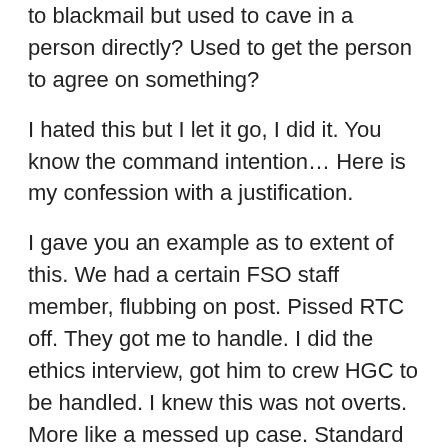to blackmail but used to cave in a person directly? Used to get the person to agree on something?
I hated this but I let it go, I did it. You know the command intention… Here is my confession with a justification.
I gave you an example as to extent of this. We had a certain FSO staff member, flubbing on post. Pissed RTC off. They got me to handle. I did the ethics interview, got him to crew HGC to be handled. I knew this was not overts. More like a messed up case. Standard CS handling was Sec Check. Poor guy went down the spiral.
I got videos of these sessions, reports, everything. One overt was that this individual